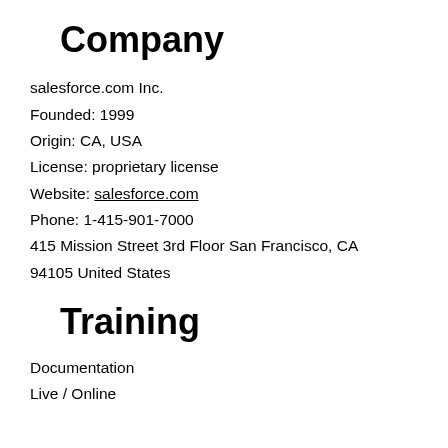Company
salesforce.com Inc.
Founded: 1999
Origin: CA, USA
License: proprietary license
Website: salesforce.com
Phone: 1-415-901-7000
415 Mission Street 3rd Floor San Francisco, CA
94105 United States
Training
Documentation
Live / Online